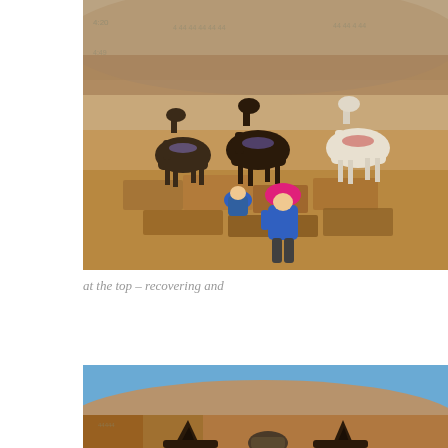[Figure (photo): A woman in a blue jacket and pink hat sits on rocky ruins at the top of a hill. Three horses — two dark brown and one white — are tied nearby. The background shows an arid, rocky hillside under clear sky.]
at the top – recovering and
[Figure (photo): Partial view from horseback perspective showing the ears of a horse in the foreground, a rider wearing a helmet slightly ahead, and an arid desert hillside with blue sky in the background.]